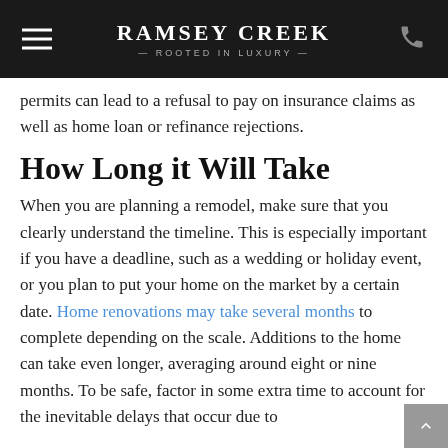RAMSEY CREEK — ROOTED IN LUXURY
permits can lead to a refusal to pay on insurance claims as well as home loan or refinance rejections.
How Long it Will Take
When you are planning a remodel, make sure that you clearly understand the timeline. This is especially important if you have a deadline, such as a wedding or holiday event, or you plan to put your home on the market by a certain date. Home renovations may take several months to complete depending on the scale. Additions to the home can take even longer, averaging around eight or nine months. To be safe, factor in some extra time to account for the inevitable delays that occur due to bad decisions, irresponsibility from contractors, and